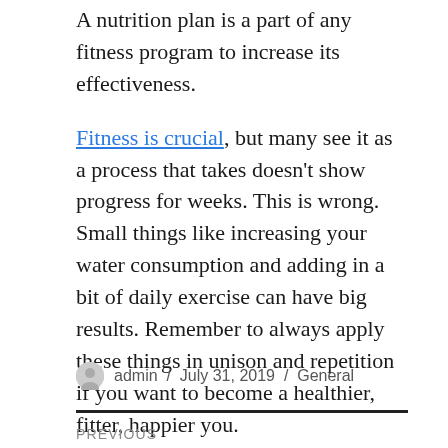A nutrition plan is a part of any fitness program to increase its effectiveness.
Fitness is crucial, but many see it as a process that takes doesn't show progress for weeks. This is wrong. Small things like increasing your water consumption and adding in a bit of daily exercise can have big results. Remember to always apply these things in unison and repetition if you want to become a healthier, fitter, happier you.
admin / July 31, 2019 / General
PREVIOUS